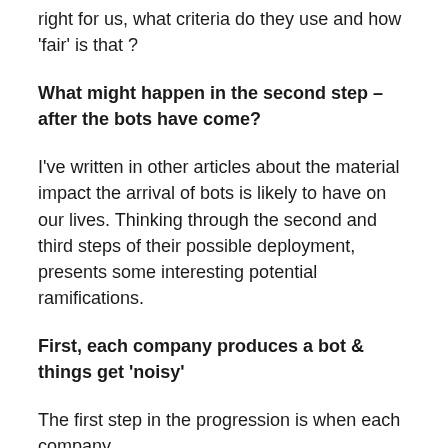right for us, what criteria do they use and how 'fair' is that ?
What might happen in the second step – after the bots have come?
I've written in other articles about the material impact the arrival of bots is likely to have on our lives. Thinking through the second and third steps of their possible deployment, presents some interesting potential ramifications.
First, each company produces a bot & things get 'noisy'
The first step in the progression is when each company